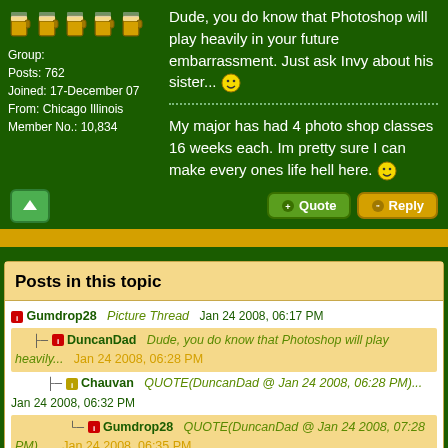[Figure (illustration): Five beer mug icons in a row]
Group:
Posts: 762
Joined: 17-December 07
From: Chicago Illinois
Member No.: 10,834
Dude, you do know that Photoshop will play heavily in your future embarrassment. Just ask Invy about his sister... 🙂
My major has had 4 photo shop classes 16 weeks each. Im pretty sure I can make every ones life hell here. 🙂
Posts in this topic
Gumdrop28   Picture Thread   Jan 24 2008, 06:17 PM
├— DuncanDad   Dude, you do know that Photoshop will play heavily...   Jan 24 2008, 06:28 PM
├— Chauvan   QUOTE(DuncanDad @ Jan 24 2008, 06:28 PM)...   Jan 24 2008, 06:32 PM
└— Gumdrop28   QUOTE(DuncanDad @ Jan 24 2008, 07:28 PM) ...   Jan 24 2008, 06:35 PM
├— invalid   she wasn't photoshopped, and she wasn't m...   Jan 24 2008, 06:32 PM
└— the_stain   This one won't need much Photoshopping, as it...   Jan 24 2008